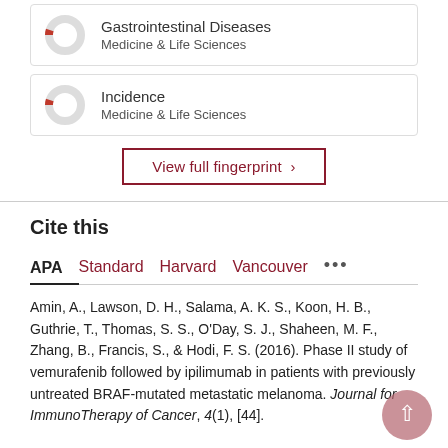[Figure (donut-chart): Small donut chart with red slice for Gastrointestinal Diseases]
Gastrointestinal Diseases
Medicine & Life Sciences
[Figure (donut-chart): Small donut chart with red slice for Incidence]
Incidence
Medicine & Life Sciences
View full fingerprint ›
Cite this
APA | Standard | Harvard | Vancouver | ...
Amin, A., Lawson, D. H., Salama, A. K. S., Koon, H. B., Guthrie, T., Thomas, S. S., O'Day, S. J., Shaheen, M. F., Zhang, B., Francis, S., & Hodi, F. S. (2016). Phase II study of vemurafenib followed by ipilimumab in patients with previously untreated BRAF-mutated metastatic melanoma. Journal for ImmunoTherapy of Cancer, 4(1), [44].